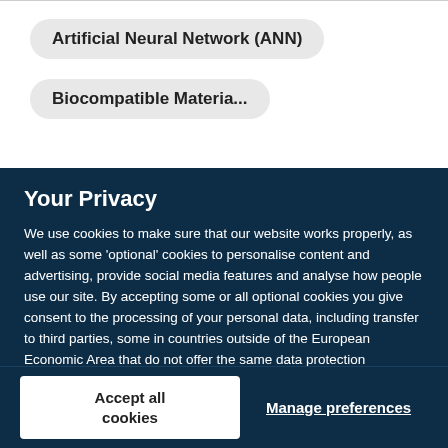Artificial Neural Network (ANN)
Biocompatible Materials
Your Privacy
We use cookies to make sure that our website works properly, as well as some 'optional' cookies to personalise content and advertising, provide social media features and analyse how people use our site. By accepting some or all optional cookies you give consent to the processing of your personal data, including transfer to third parties, some in countries outside of the European Economic Area that do not offer the same data protection standards as the country where you live. You can decide which optional cookies to accept by clicking on 'Manage Settings', where you can also find more information about how your personal data is processed. Further information can be found in our privacy policy.
Accept all cookies
Manage preferences